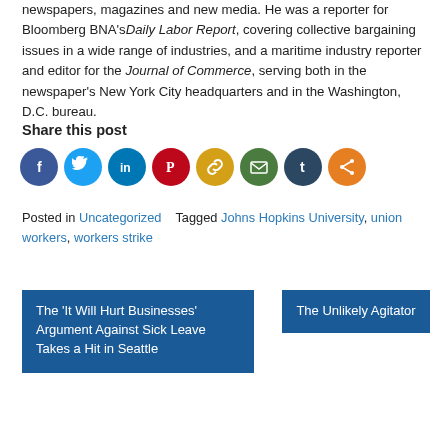newspapers, magazines and new media. He was a reporter for Bloomberg BNA's Daily Labor Report, covering collective bargaining issues in a wide range of industries, and a maritime industry reporter and editor for the Journal of Commerce, serving both in the newspaper's New York City headquarters and in the Washington, D.C. bureau.
Share this post
[Figure (infographic): Social media sharing icons: Facebook (dark blue), Twitter (light blue), LinkedIn (dark blue), Pinterest (red), Copy link (yellow/gold), Email (green), Tumblr (dark navy), Share (orange)]
Posted in Uncategorized   Tagged Johns Hopkins University, union workers, workers strike
The 'It Will Hurt Businesses' Argument Against Sick Leave Takes a Hit in Seattle
The Unlikely Agitator